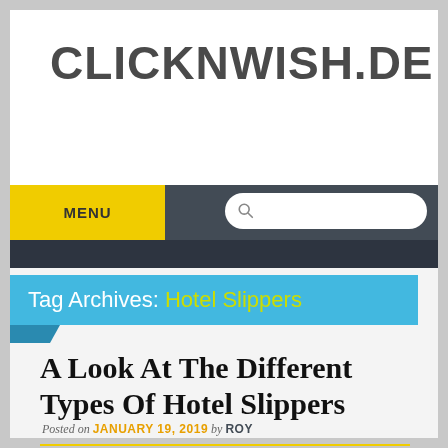CLICKNWISH.DE
MENU
Tag Archives: Hotel Slippers
A Look At The Different Types Of Hotel Slippers
Posted on JANUARY 19, 2019 by ROY